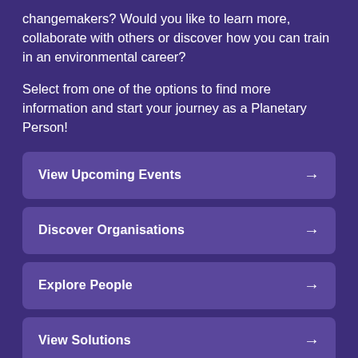changemakers? Would you like to learn more, collaborate with others or discover how you can train in an environmental career?
Select from one of the options to find more information and start your journey as a Planetary Person!
View Upcoming Events →
Discover Organisations →
Explore People →
View Solutions →